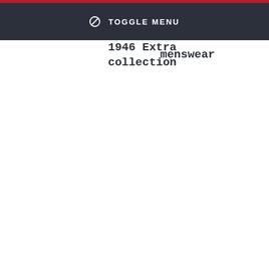TOGGLE MENU
1946 Extra collection
menswear